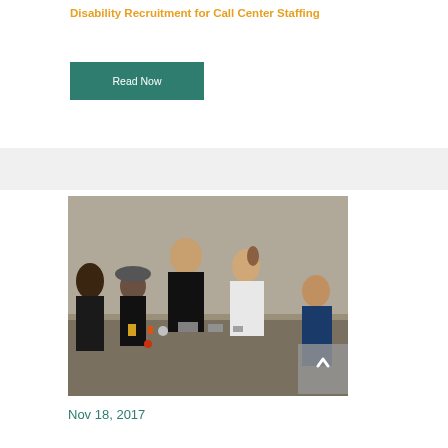Disability Recruitment for Call Center Staffing
Read Now
[Figure (photo): Group of young people working together around a table with electronic components and tools, in a workshop or lab setting.]
Nov 18, 2017